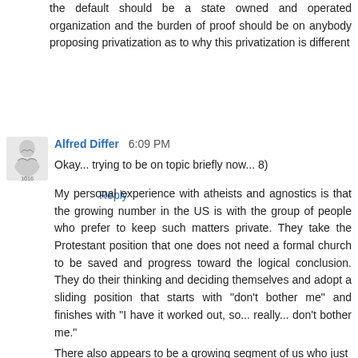the default should be a state owned and operated organization and the burden of proof should be on anybody proposing privatization as to why this privatization is different
Reply
[Figure (illustration): Small avatar icon of a person or cartoon figure]
Alfred Differ  6:09 PM
Okay... trying to be on topic briefly now... 8)
My personal experience with atheists and agnostics is that the growing number in the US is with the group of people who prefer to keep such matters private. They take the Protestant position that one does not need a formal church to be saved and progress toward the logical conclusion. They do their thinking and deciding themselves and adopt a sliding position that starts with "don't bother me" and finishes with "I have it worked out, so... really... don't bother me."
There also appears to be a growing segment of us who just